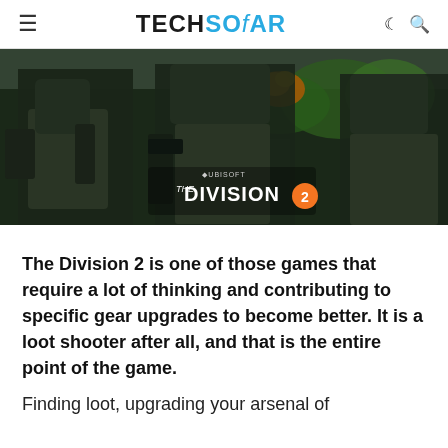TECHSOAR
[Figure (photo): The Division 2 game promotional image showing three armored soldiers from behind walking in a post-apocalyptic setting with the 'THE DIVISION 2' logo overlaid in orange and white text.]
The Division 2 is one of those games that require a lot of thinking and contributing to specific gear upgrades to become better. It is a loot shooter after all, and that is the entire point of the game.
Finding loot, upgrading your arsenal of